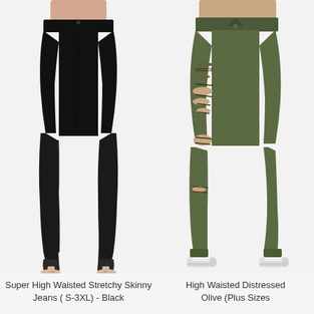[Figure (photo): Woman wearing super high waisted stretchy skinny jeans in black, shown from waist to feet wearing nude heels. White background.]
Super High Waisted Stretchy Skinny Jeans ( S-3XL) - Black
[Figure (photo): Woman wearing high waisted distressed skinny jeans in olive green, shown from waist to feet wearing white Converse sneakers. White background.]
High Waisted Distressed Olive (Plus Sizes